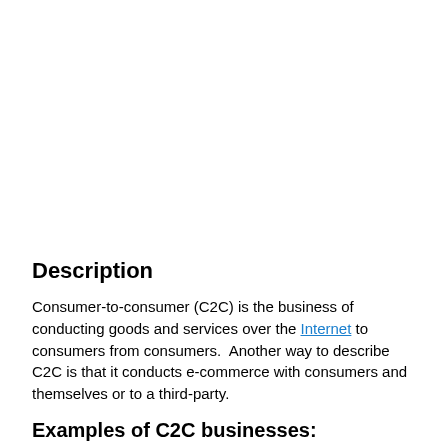Description
Consumer-to-consumer (C2C) is the business of conducting goods and services over the Internet to consumers from consumers.  Another way to describe C2C is that it conducts e-commerce with consumers and themselves or to a third-party.
Examples of C2C businesses:
Ebay
Craigslist
Online Ad or Classifieds